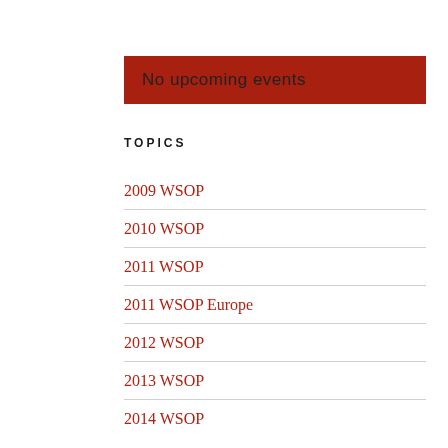No upcoming events
TOPICS
2009 WSOP
2010 WSOP
2011 WSOP
2011 WSOP Europe
2012 WSOP
2013 WSOP
2014 WSOP